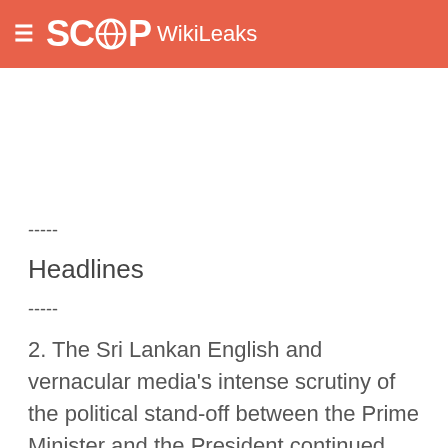SCOOP WikiLeaks
-----
Headlines
-----
2. The Sri Lankan English and vernacular media's intense scrutiny of the political stand-off between the Prime Minister and the President continued. Independent Sinhala daily, LAKBIMA's headline (11/11), "President invites PM for discussions," was echoed by many other